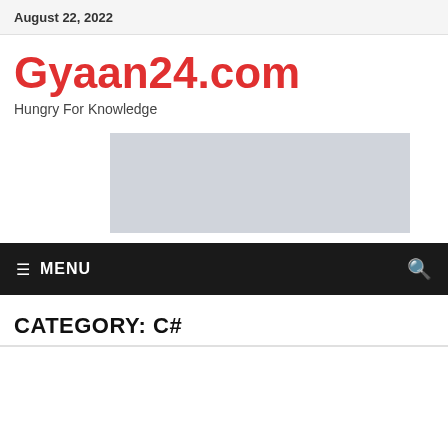August 22, 2022
Gyaan24.com
Hungry For Knowledge
[Figure (other): Gray advertisement placeholder rectangle]
≡  MENU
CATEGORY: C#